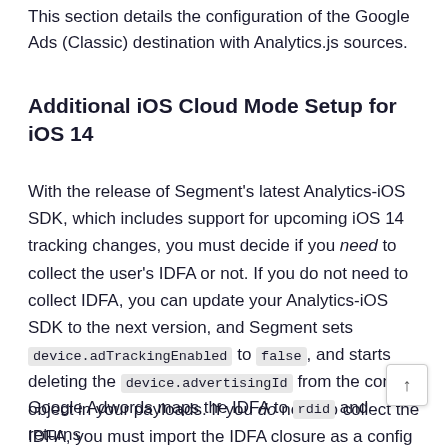This section details the configuration of the Google Ads (Classic) destination with Analytics.js sources.
Additional iOS Cloud Mode Setup for iOS 14
With the release of Segment's latest Analytics-iOS SDK, which includes support for upcoming iOS 14 tracking changes, you must decide if you need to collect the user's IDFA or not. If you do not need to collect IDFA, you can update your Analytics-iOS SDK to the next version, and Segment sets device.adTrackingEnabled to false, and starts deleting the device.advertisingId from the context object in your payloads. If you do need to collect the IDFA, you must import the IDFA closure as a config to the library, or import the Ad Tracking Transparency framework from Apple.
Google Adwords maps the IDFA to rdid and returns